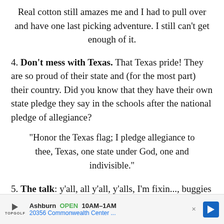Real cotton still amazes me and I had to pull over and have one last picking adventure. I still can't get enough of it.
4. Don't mess with Texas. That Texas pride! They are so proud of their state and (for the most part) their country. Did you know that they have their own state pledge they say in the schools after the national pledge of allegiance?
"Honor the Texas flag; I pledge allegiance to thee, Texas, one state under God, one and indivisible."
5. The talk: y'all, all y'all, y'alls, I'm fixin..., buggies are shopping carts, cokes are any kind of
[Figure (infographic): Advertisement banner for Topgolf Ashburn showing OPEN 10AM-1AM and address 20356 Commonwealth Center... with a blue directional arrow icon and Topgolf logo.]